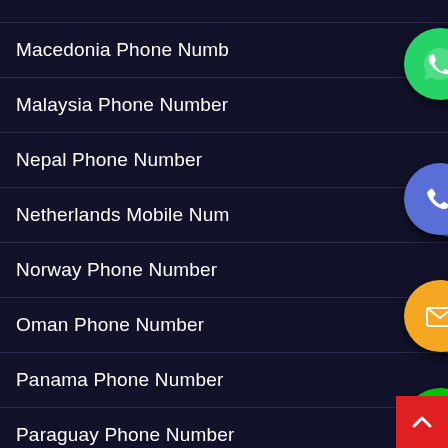Macedonia Phone Number
Malaysia Phone Number
Nepal Phone Number
Netherlands Mobile Number
Norway Phone Number
Oman Phone Number
Panama Phone Number
Paraguay Phone Number
PHILIPPINES PHOTO EDITOR
[Figure (screenshot): Screenshot of a mobile app list showing phone number categories by country with floating action buttons (WhatsApp, phone, email, LINE, Viber, close icons) and a red scroll-to-top button]